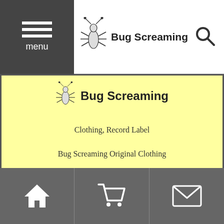menu | Bug Screaming | [search icon]
Bug Screaming
Clothing, Record Label
Bug Screaming Original Clothing
【Bands Artists】
IJEN KAI
OLE
Dn-Lahmar Galaxy 7
Release, Live information
Band Merch, Clothing, Accessories, Download Music, CDs &
[home icon] [cart icon] [mail icon]